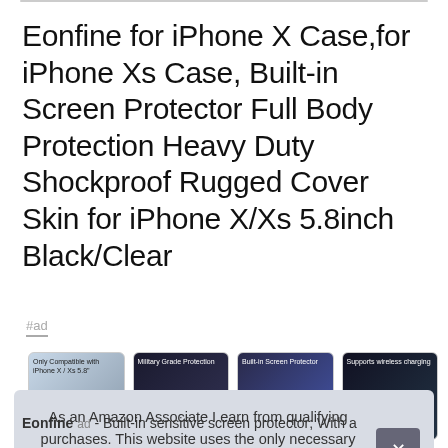Eonfine for iPhone X Case,for iPhone Xs Case, Built-in Screen Protector Full Body Protection Heavy Duty Shockproof Rugged Cover Skin for iPhone X/Xs 5.8inch Black/Clear
#ad
[Figure (screenshot): Four product thumbnail images in a horizontal row showing the phone case from different angles and feature callouts]
As an Amazon Associate I earn from qualifying purchases. This website uses the only necessary cookies to ensure you get the best experience on our website. More information
Eonfine - Built-in sensitive screen protector; With a